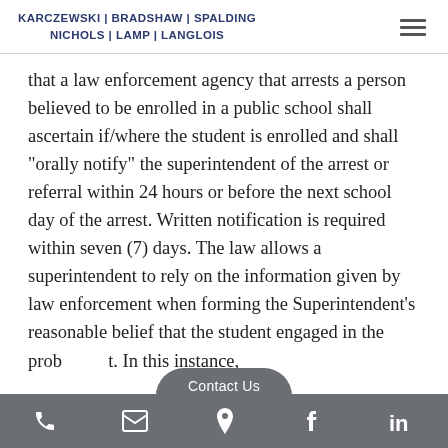Karczewski | Bradshaw | Spalding Nichols | Lamp | Langlois
that a law enforcement agency that arrests a person believed to be enrolled in a public school shall ascertain if/where the student is enrolled and shall “orally notify” the superintendent of the arrest or referral within 24 hours or before the next school day of the arrest. Written notification is required within seven (7) days. The law allows a superintendent to rely on the information given by law enforcement when forming the Superintendent’s reasonable belief that the student engaged in the prob[lemati]t. In this instance,
Contact Us | Phone | Email | Location | Facebook | LinkedIn